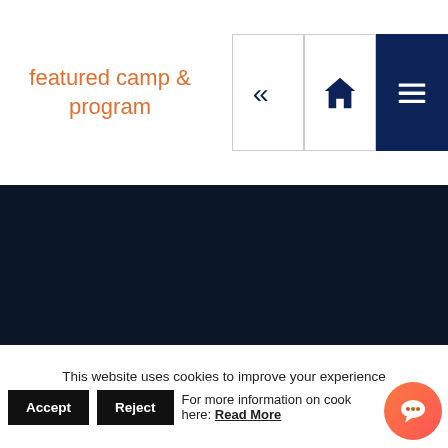featured camp & program
[Figure (screenshot): Navigation header with back (double chevron left), home, and menu (hamburger) icon buttons]
[Figure (photo): Large dark navy blue section representing a featured camp and program image area]
This website uses cookies to improve your experience
Accept  Reject  For more information on cookies here: Read More